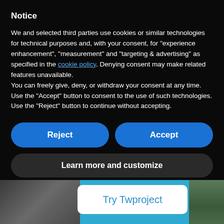Notice
We and selected third parties use cookies or similar technologies for technical purposes and, with your consent, for “experience enhancement”, “measurement” and “targeting & advertising” as specified in the cookie policy. Denying consent may make related features unavailable.
You can freely give, deny, or withdraw your consent at any time. Use the “Accept” button to consent to the use of such technologies. Use the “Reject” button to continue without accepting.
Reject
Accept
Learn more and customize
[Figure (screenshot): Bottom portion of a webpage showing a 'Try Twproject' button in a white rounded rectangle over a blue background, with partial photos of hands on a keyboard and a plant on either side.]